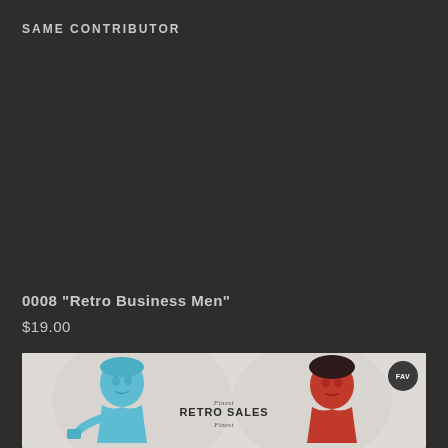SAME CONTRIBUTOR
0008 "Retro Business Men"
$19.00
[Figure (illustration): Retro-style illustration showing two women in 1950s style. One figure rendered in blue on the left, one in red/dark on the right. Text in the center reads 'Finest RETRO SALES'. A small dark circular badge appears in the top-right corner of the image. The background is a light gray with subtle decorative swirl patterns.]